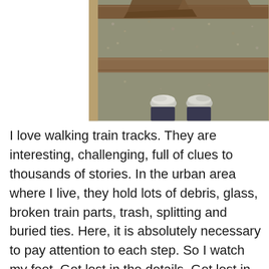[Figure (photo): Overhead view of railroad tracks with gravel ballast, wooden railroad ties, and a person's feet in white/grey sneakers and dark jeans standing between the rails]
I love walking train tracks. They are interesting, challenging, full of clues to thousands of stories. In the urban area where I live, they hold lots of debris, glass, broken train parts, trash, splitting and buried ties. Here, it is absolutely necessary to pay attention to each step. So I watch my feet. Get lost in the details. Get lost in the repetition. In the